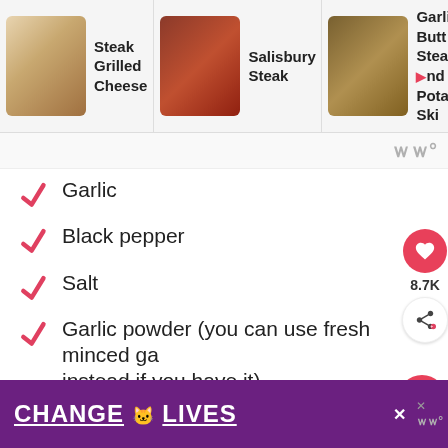[Figure (screenshot): Top banner showing three food recipe images: Steak Grilled Cheese, Salisbury Steak, and Garlic Butt Steak and Potato Ski]
Garlic
Black pepper
Salt
Garlic powder (you can use fresh minced ga instead if you have it)
Onion powder
Italian seasonings
Red pepper flakes
[Figure (screenshot): Bottom advertisement banner with purple background showing cat images and text CHANGE LIVES]